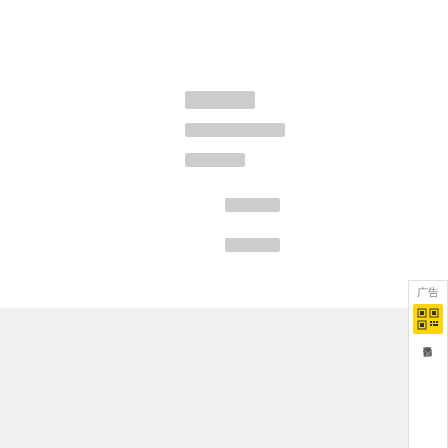□□□□
□□□□□□□□□□
□□□□□□
□□□□
□□□□
[Figure (other): Advertisement side panel with QR code and vertical Chinese text reading '当当读书客户端下载' (Dangdang eBook client download) and a close button X]